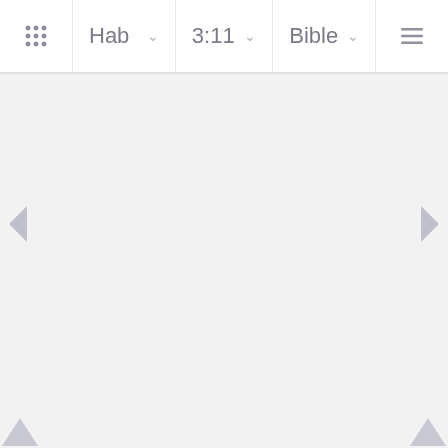[Figure (screenshot): Bible app navigation bar showing book selector 'Hab', chapter:verse selector '3:11', and 'Bible' translation selector, with grid icon on left and hamburger menu on right]
[Figure (other): Left navigation arrow pointing left, centered vertically on the page]
[Figure (other): Right navigation arrow pointing right, centered vertically on the page]
[Figure (other): Bottom-left upward-pointing triangle navigation arrow]
[Figure (other): Bottom-right upward-pointing triangle navigation arrow]